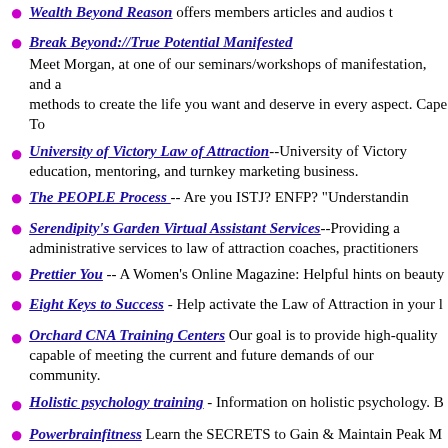Wealth Beyond Reason offers members articles and audios...
Break Beyond://True Potential Manifested - Meet Morgan, at one of our seminars/workshops of manifestation, and a methods to create the life you want and deserve in every aspect. Cape To
University of Victory Law of Attraction--University of Victory education, mentoring, and turnkey marketing business.
The PEOPLE Process -- Are you ISTJ? ENFP? "Understanding...
Serendipity's Garden Virtual Assistant Services--Providing administrative services to law of attraction coaches, practitioners...
Prettier You -- A Women's Online Magazine: Helpful hints on beauty
Eight Keys to Success - Help activate the Law of Attraction in your l
Orchard CNA Training Centers Our goal is to provide high-quality capable of meeting the current and future demands of our community.
Holistic psychology training - Information on holistic psychology. B
Powerbrainfitness Learn the SECRETS to Gain & Maintain Peak M
This Book Requires Scissors - A one of a kind book that gives you n week. And you really do need scissors!
Think Hypnosis